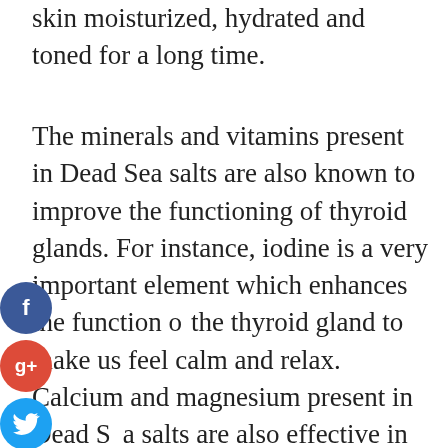skin moisturized, hydrated and toned for a long time.
The minerals and vitamins present in Dead Sea salts are also known to improve the functioning of thyroid glands. For instance, iodine is a very important element which enhances the function of the thyroid gland to make us feel calm and relax. Calcium and magnesium present in Dead Sea salts are also effective in reducing the symptoms of arthritis and improving the skin conditions of menopause. Stress and anxiety are the major reasons for many skin conditions and Dead Sea salts can help in reducing stress and
[Figure (other): Social media sharing icons: Facebook (blue circle with f), Google+ (red circle with g+), Twitter (light blue circle with bird), and Add/share (dark circle with +)]